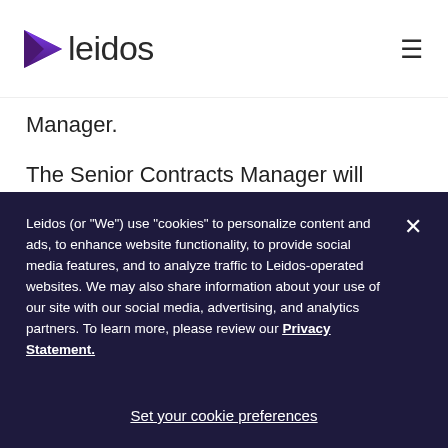leidos
Manager.
The Senior Contracts Manager will provide overall contract compliance of assigned tasks in accordance with contract requirements, company policy and procedures,
Leidos (or “We”) use “cookies” to personalize content and ads, to enhance website functionality, to provide social media features, and to analyze traffic to Leidos-operated websites. We may also share information about your use of our site with our social media, advertising, and analytics partners. To learn more, please review our Privacy Statement.
Set your cookie preferences